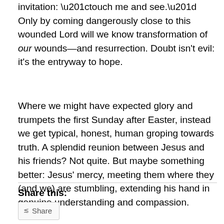To do as to him, Jesus extends the same merciful invitation: “touch me and see.” Only by coming dangerously close to this wounded Lord will we know transformation of our wounds—and resurrection. Doubt isn't evil: it's the entryway to hope.
Where we might have expected glory and trumpets the first Sunday after Easter, instead we get typical, honest, human groping towards truth. A splendid reunion between Jesus and his friends? Not quite. But maybe something better: Jesus’ mercy, meeting them where they (and we) are stumbling, extending his hand in genuine understanding and compassion.
Share this: